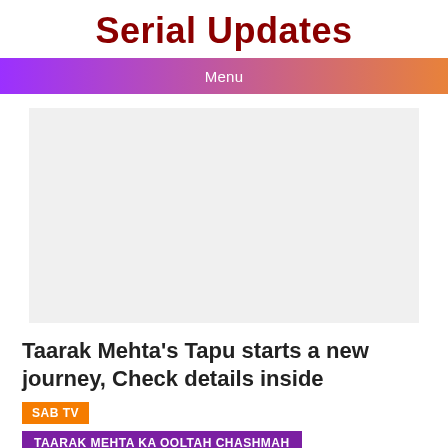Serial Updates
Menu
[Figure (other): Gray placeholder advertisement block]
Taarak Mehta's Tapu starts a new journey, Check details inside
SAB TV
TAARAK MEHTA KA OOLTAH CHASHMAH